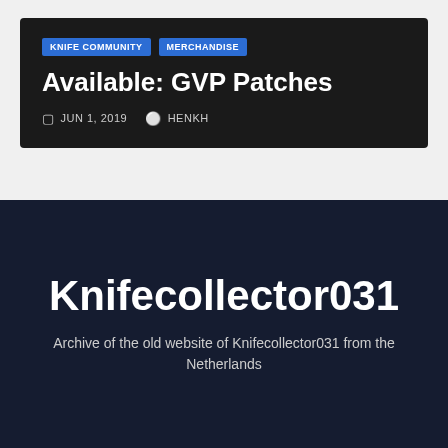KNIFE COMMUNITY | MERCHANDISE
Available: GVP Patches
JUN 1, 2019  HENKH
Knifecollector031
Archive of the old website of Knifecollector031 from the Netherlands